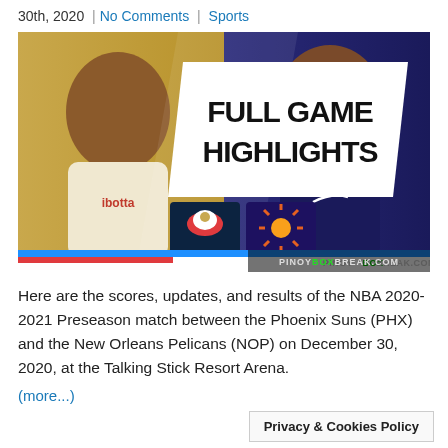30th, 2020 | No Comments | Sports
[Figure (photo): NBA Full Game Highlights thumbnail showing two basketball players (New Orleans Pelicans vs Phoenix Suns) with text FULL GAME HIGHLIGHTS in center, team logos below, ibotta sponsor logo, and PINOYBOXBREAK.COM watermark. Blue and red stripe at bottom.]
Here are the scores, updates, and results of the NBA 2020-2021 Preseason match between the Phoenix Suns (PHX) and the New Orleans Pelicans (NOP) on December 30, 2020, at the Talking Stick Resort Arena.
(more...)
Privacy & Cookies Policy